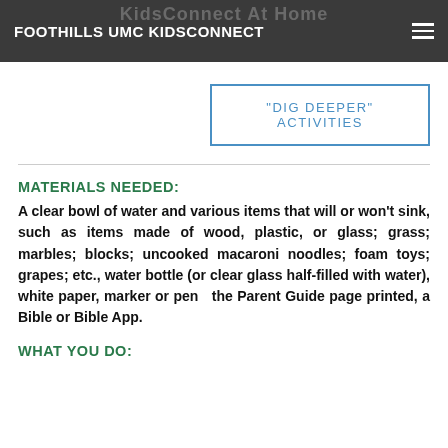FOOTHILLS UMC KIDSCONNECT
"DIG DEEPER" ACTIVITIES
MATERIALS NEEDED:
A clear bowl of water and various items that will or won't sink, such as items made of wood, plastic, or glass; grass; marbles; blocks; uncooked macaroni noodles; foam toys; grapes; etc., water bottle (or clear glass half-filled with water), white paper, marker or pen  the Parent Guide page printed, a Bible or Bible App.
WHAT YOU DO: